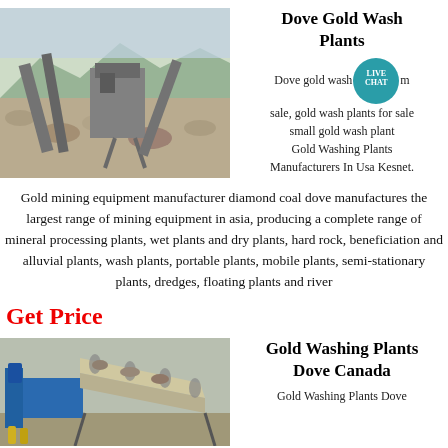[Figure (photo): Mining equipment and conveyor belts at an open-air mining site with mountains in background]
Dove Gold Washing Plants
Dove gold wash plants for sale, gold wash plants for sale small gold wash plants. Gold Washing Plants Manufacturers In Usa Kesnet.
Gold mining equipment manufacturer diamond coal dove manufactures the largest range of mining equipment in asia, producing a complete range of mineral processing plants, wet plants and dry plants, hard rock, beneficiation and alluvial plants, wash plants, portable plants, mobile plants, semi-stationary plants, dredges, floating plants and river
Get Price
[Figure (photo): Gold washing plant with blue machinery and conveyor belt processing gravel/rock material]
Gold Washing Plants Dove Canada
Gold Washing Plants Dove